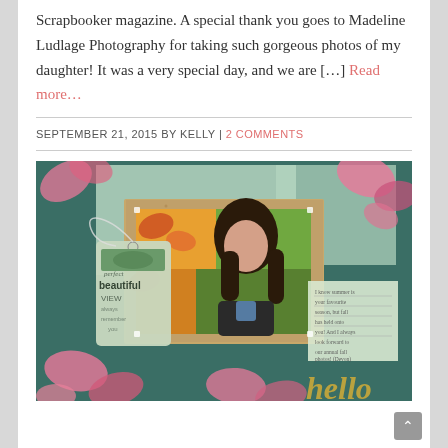Scrapbooker magazine. A special thank you goes to Madeline Ludlage Photography for taking such gorgeous photos of my daughter! It was a very special day, and we are [...] Read more...
SEPTEMBER 21, 2015 BY KELLY | 2 COMMENTS
[Figure (photo): A scrapbook layout page showing a teenage girl with dark hair photographed against autumn foliage (red, yellow, green leaves). The layout features a teal/dark green background, pink watercolor leaf embellishments, a cork board frame around the photo, a decorative tag reading 'beautiful VIEW', a handwritten journaling card, and gold cursive 'hello' text at the bottom right.]